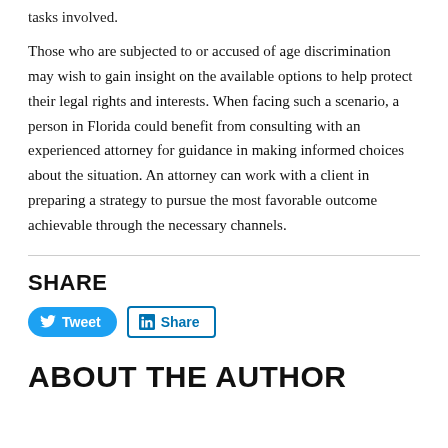tasks involved.
Those who are subjected to or accused of age discrimination may wish to gain insight on the available options to help protect their legal rights and interests. When facing such a scenario, a person in Florida could benefit from consulting with an experienced attorney for guidance in making informed choices about the situation. An attorney can work with a client in preparing a strategy to pursue the most favorable outcome achievable through the necessary channels.
SHARE
Tweet | Share
ABOUT THE AUTHOR